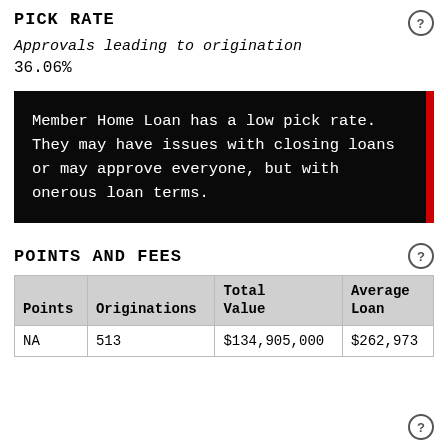PICK RATE
Approvals leading to origination
36.06%
Member Home Loan has a low pick rate. They may have issues with closing loans or may approve everyone, but with onerous loan terms.
POINTS AND FEES
| Points | Originations | Total Value | Average Loan |
| --- | --- | --- | --- |
| NA | 513 | $134,905,000 | $262,973 |